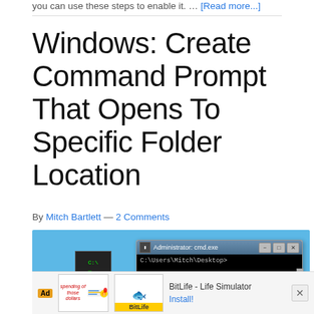you can use these steps to enable it. … [Read more...]
Windows: Create Command Prompt That Opens To Specific Folder Location
By Mitch Bartlett — 2 Comments
[Figure (screenshot): Screenshot of a Windows Command Prompt window showing 'Administrator: cmd.exe' in the title bar with the path C:\Users\Mitch\Desktop> typed in the black terminal body. A command prompt shortcut icon is visible to the left. An advertisement bar for BitLife - Life Simulator app appears at the bottom with an Install! link.]